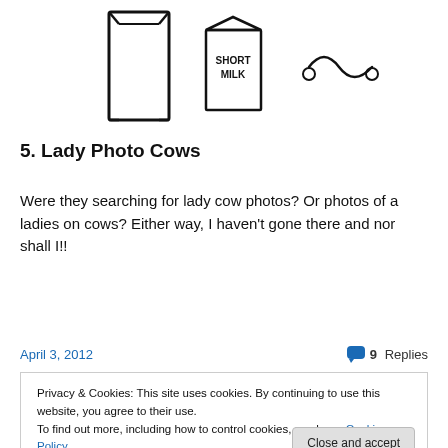[Figure (illustration): Hand-drawn sketch showing three items: a tall rectangular shape (like a book or panel), a small milk carton labeled 'SHORT MILK', and a wavy line with two small circles (musical notes or similar doodle).]
5. Lady Photo Cows
Were they searching for lady cow photos? Or photos of a ladies on cows? Either way, I haven't gone there and nor shall I!!
April 3, 2012
9 Replies
Privacy & Cookies: This site uses cookies. By continuing to use this website, you agree to their use.
To find out more, including how to control cookies, see here: Cookie Policy
Close and accept
person with no dependant responsibilities is that normal